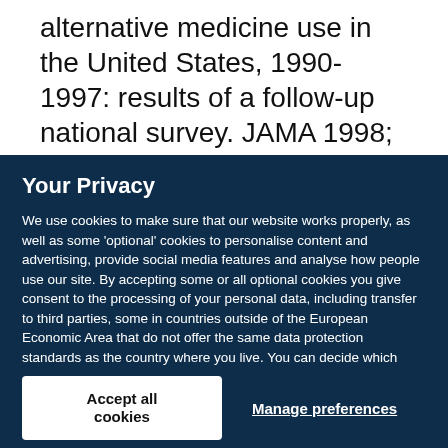alternative medicine use in the United States, 1990-1997: results of a follow-up national survey. JAMA 1998; 280: 1569–1575.
Your Privacy
We use cookies to make sure that our website works properly, as well as some 'optional' cookies to personalise content and advertising, provide social media features and analyse how people use our site. By accepting some or all optional cookies you give consent to the processing of your personal data, including transfer to third parties, some in countries outside of the European Economic Area that do not offer the same data protection standards as the country where you live. You can decide which optional cookies to accept by clicking on 'Manage Settings', where you can also find more information about how your personal data is processed. Further information can be found in our privacy policy.
Accept all cookies
Manage preferences